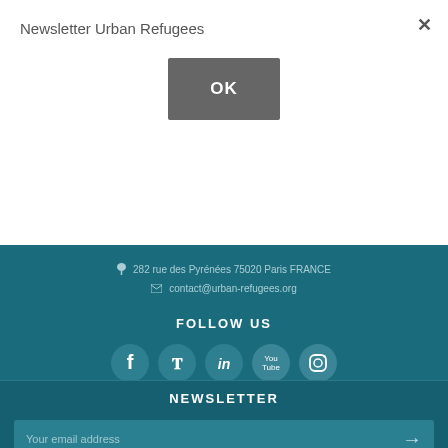Newsletter Urban Refugees
OK
282 rue des Pyrénées 75020 Paris FRANCE
contact@urban-refugees.org
FOLLOW US
[Figure (illustration): Social media icons: Facebook, Twitter, LinkedIn, YouTube, Instagram in circular teal buttons]
NEWSLETTER
Your email address